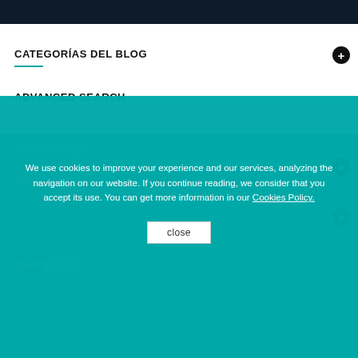CATEGORÍAS DEL BLOG
ADVANCED SEARCH
We use cookies to improve your experience and our services, analyzing the navigation on our website. If you continue reading, we consider that you accept its use. You can get more information in our Cookies Policy.
close
CATEGORIES
INFORMATION
OUR STORE